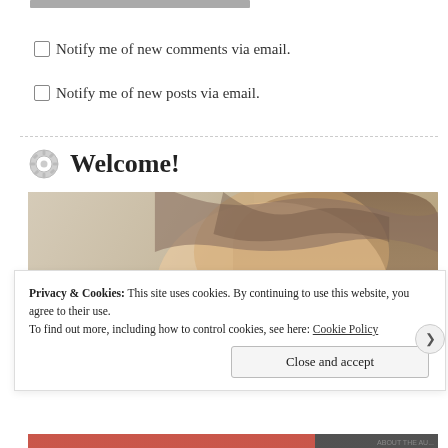Notify me of new comments via email.
Notify me of new posts via email.
Welcome!
[Figure (photo): Close-up photo of a person's head showing hair and face, background with white wall and green element visible.]
Privacy & Cookies: This site uses cookies. By continuing to use this website, you agree to their use.
To find out more, including how to control cookies, see here: Cookie Policy
Close and accept